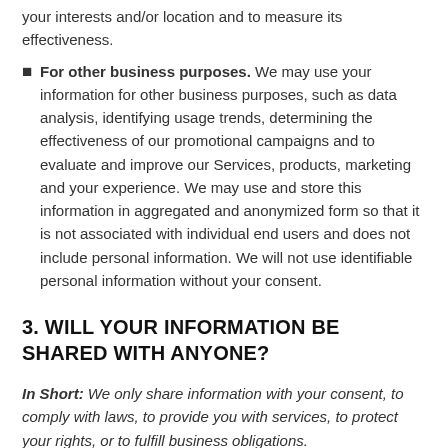your interests and/or location and to measure its effectiveness.
For other business purposes. We may use your information for other business purposes, such as data analysis, identifying usage trends, determining the effectiveness of our promotional campaigns and to evaluate and improve our Services, products, marketing and your experience. We may use and store this information in aggregated and anonymized form so that it is not associated with individual end users and does not include personal information. We will not use identifiable personal information without your consent.
3. WILL YOUR INFORMATION BE SHARED WITH ANYONE?
In Short:  We only share information with your consent, to comply with laws, to provide you with services, to protect your rights, or to fulfill business obligations.